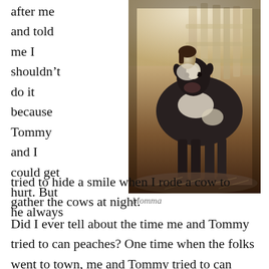after me and told me I shouldn't do it because Tommy and I could get hurt. But he always tried to hide a smile when I rode a cow to gather the cows at night.
[Figure (photo): Sepia-toned vintage photograph of a young girl posing with a black and white cow in front of a wooden fence or log structure. The photo appears to be from the early 20th century.]
Momma
Did I ever tell about the time me and Tommy tried to can peaches? One time when the folks went to town, me and Tommy tried to can peaches. We picked